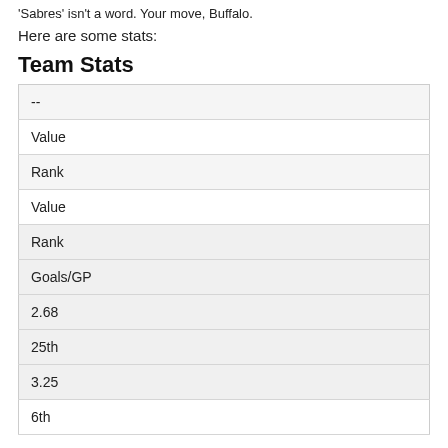'Sabres' isn't a word. Your move, Buffalo.
Here are some stats:
Team Stats
| -- |
| --- |
| Value |
| Rank |
| Value |
| Rank |
| Goals/GP |
| 2.68 |
| 25th |
| 3.25 |
| 6th |